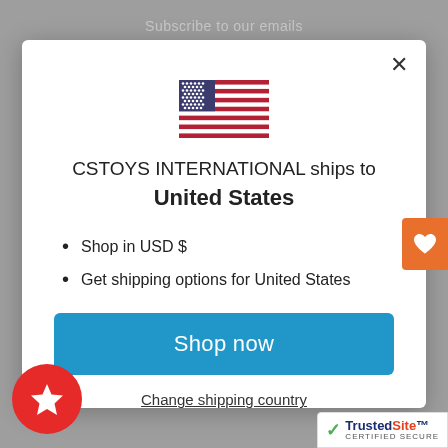Subscribe to our emails
[Figure (illustration): US flag emoji/illustration inside modal]
CSTOYS INTERNATIONAL ships to United States
Shop in USD $
Get shipping options for United States
Shop now
Change shipping country
[Figure (illustration): Orange heart icon button on right side]
[Figure (illustration): Red circle with white star badge bottom left]
[Figure (logo): TrustedSite CERTIFIED SECURE badge bottom right]